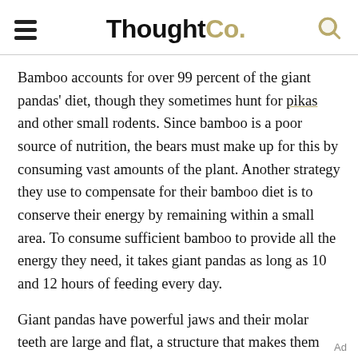ThoughtCo.
Bamboo accounts for over 99 percent of the giant pandas' diet, though they sometimes hunt for pikas and other small rodents. Since bamboo is a poor source of nutrition, the bears must make up for this by consuming vast amounts of the plant. Another strategy they use to compensate for their bamboo diet is to conserve their energy by remaining within a small area. To consume sufficient bamboo to provide all the energy they need, it takes giant pandas as long as 10 and 12 hours of feeding every day.
Giant pandas have powerful jaws and their molar teeth are large and flat, a structure that makes them well suited for grinding up the fibrous bamboo they eat. Pandas feed while sitting upright...